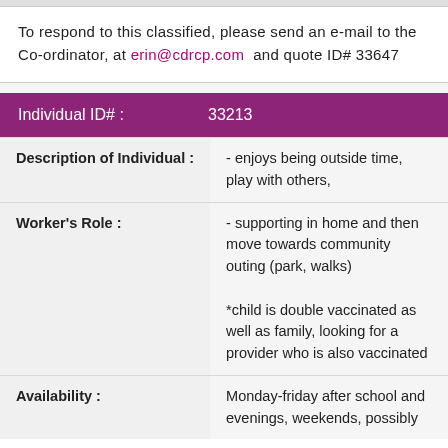To respond to this classified, please send an e-mail to the Co-ordinator, at erin@cdrcp.com and quote ID# 33647
| Field | Value |
| --- | --- |
| Individual ID# : | 33213 |
| Description of Individual : | - enjoys being outside time, play with others, |
| Worker's Role : | - supporting in home and then move towards community outing (park, walks)

*child is double vaccinated as well as family, looking for a provider who is also vaccinated |
| Availability : | Monday-friday after school and evenings, weekends, possibly |